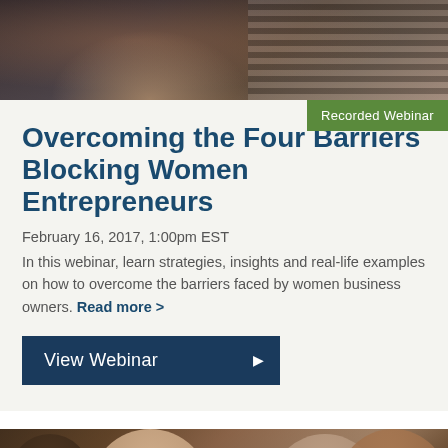[Figure (photo): Top banner photo showing people with tablets, striped clothing visible on right side]
Recorded Webinar
Overcoming the Four Barriers Blocking Women Entrepreneurs
February 16, 2017, 1:00pm EST
In this webinar, learn strategies, insights and real-life examples on how to overcome the barriers faced by women business owners. Read more >
View Webinar ▶
[Figure (photo): Bottom banner photo showing a diverse group of people smiling, including a man, Asian woman, woman in hijab, and Black woman]